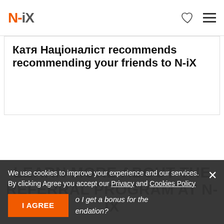N-iX
Катя Націоналіст recommends recommending your friends to N-iX
LEARN MORE ABOUT THE REFERRAL PROGRAM AT N-IX
We use cookies to improve your experience and our services. By clicking Agree you accept our Privacy and Cookies Policy
I AGREE
o I get a bonus for the endation?